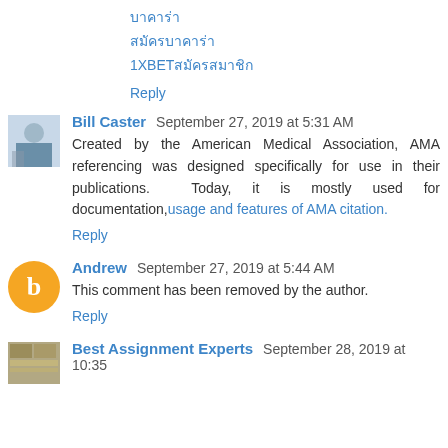บาคาร่า
สมัครบาคาร่า
1XBETสมัครสมาชิก
Reply
Bill Caster  September 27, 2019 at 5:31 AM
Created by the American Medical Association, AMA referencing was designed specifically for use in their publications. Today, it is mostly used for documentation, usage and features of AMA citation.
Reply
Andrew  September 27, 2019 at 5:44 AM
This comment has been removed by the author.
Reply
Best Assignment Experts  September 28, 2019 at 10:35